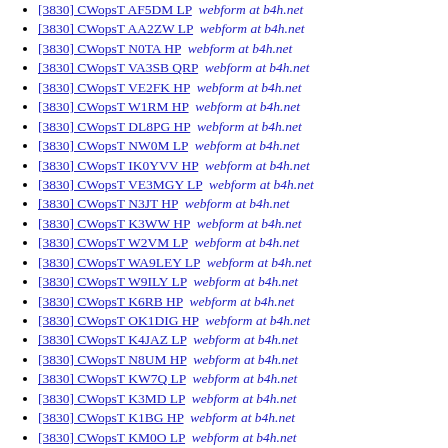[3830] CWopsT AF5DM LP  webform at b4h.net
[3830] CWopsT AA2ZW LP  webform at b4h.net
[3830] CWopsT N0TA HP  webform at b4h.net
[3830] CWopsT VA3SB QRP  webform at b4h.net
[3830] CWopsT VE2FK HP  webform at b4h.net
[3830] CWopsT W1RM HP  webform at b4h.net
[3830] CWopsT DL8PG HP  webform at b4h.net
[3830] CWopsT NW0M LP  webform at b4h.net
[3830] CWopsT IK0YVV HP  webform at b4h.net
[3830] CWopsT VE3MGY LP  webform at b4h.net
[3830] CWopsT N3JT HP  webform at b4h.net
[3830] CWopsT K3WW HP  webform at b4h.net
[3830] CWopsT W2VM LP  webform at b4h.net
[3830] CWopsT WA9LEY LP  webform at b4h.net
[3830] CWopsT W9ILY LP  webform at b4h.net
[3830] CWopsT K6RB HP  webform at b4h.net
[3830] CWopsT OK1DIG HP  webform at b4h.net
[3830] CWopsT K4JAZ LP  webform at b4h.net
[3830] CWopsT N8UM HP  webform at b4h.net
[3830] CWopsT KW7Q LP  webform at b4h.net
[3830] CWopsT K3MD LP  webform at b4h.net
[3830] CWopsT K1BG HP  webform at b4h.net
[3830] CWopsT KM0O LP  webform at b4h.net
[3830] CWopsT W1UU QRP  webform at b4h.net
[3830] CWopsT N4ZZ HP  webform at b4h.net
[3830] CWopsT K1RO HP  webform at b4h.net